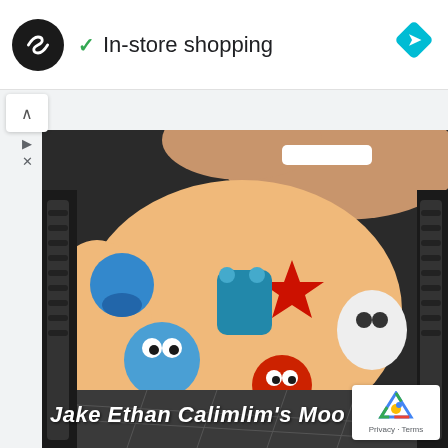[Figure (screenshot): Google Maps or similar app header showing a black circular logo with infinity-like symbol, a green checkmark with 'In-store shopping' text, and a blue diamond navigation icon on the right. Below is a video frame showing a young child in a colorful Sesame Street-themed orange shirt, with text overlay reading 'Jake Ethan Calimlim's moo'. A reCAPTCHA badge is visible in the bottom right corner.]